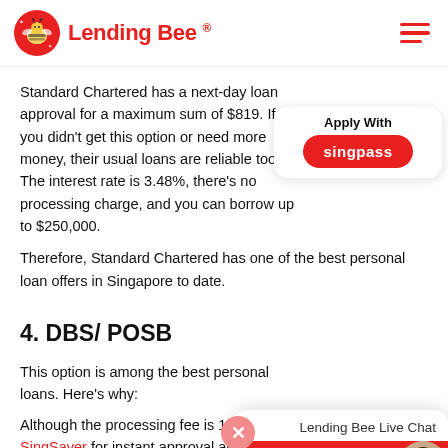Lending Bee®
Standard Chartered has a next-day loan approval for a maximum sum of $819. If you didn't get this option or need more money, their usual loans are reliable too. The interest rate is 3.48%, there's no processing charge, and you can borrow up to $250,000.
Therefore, Standard Chartered has one of the best personal loan offers in Singapore to date.
4. DBS/ POSB
This option is among the best... Here's why:
Although the processing fee is 1%, you can apply via SingSaver for instant approval and loan disbursal of loans over $500.